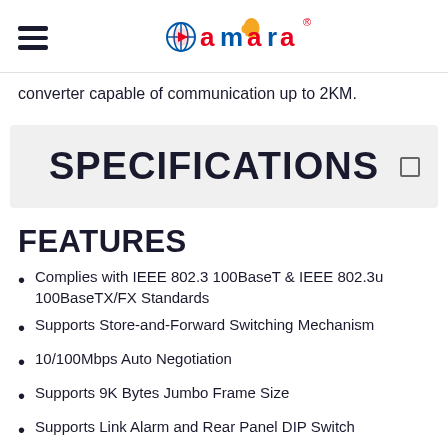amara (logo)
converter capable of communication up to 2KM.
SPECIFICATIONS
FEATURES
Complies with IEEE 802.3 100BaseT & IEEE 802.3u 100BaseTX/FX Standards
Supports Store-and-Forward Switching Mechanism
10/100Mbps Auto Negotiation
Supports 9K Bytes Jumbo Frame Size
Supports Link Alarm and Rear Panel DIP Switch